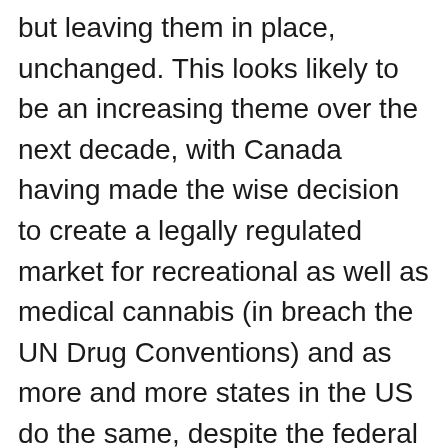but leaving them in place, unchanged. This looks likely to be an increasing theme over the next decade, with Canada having made the wise decision to create a legally regulated market for recreational as well as medical cannabis (in breach the UN Drug Conventions) and as more and more states in the US do the same, despite the federal 'ban'. In spite of this self-evident fact, the UN is marching towards reaffirming the status quo and making itself increasingly moribund in one of the only spheres in which it used to enjoy international agreement. The multifaceted impact of failing to accommodate progressive options for reform at UNGASS extends its harms far beyond